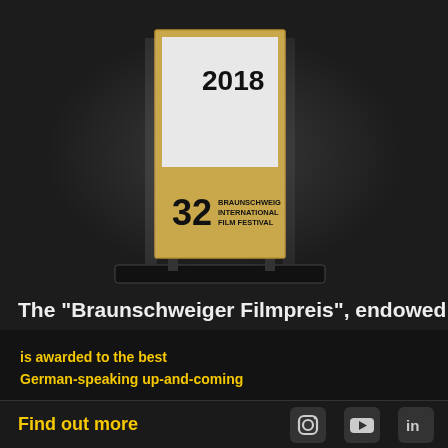[Figure (photo): A trophy/award statue for the Braunschweig International Film Festival, edition 32, year 2018. The award is a tall rectangular plaque in a stand, with gold and white coloring, displayed against a dark background.]
The "Braunschweiger Filmpreis", endowed
is awarded to the best
German-speaking up-and-coming
Privacy settings
We use cookies to make your experience of our website better. To comply with the e-Privacy Directive, we need to ask for your consent to set these cookies.
Edit settings
Agree to all
Find out more